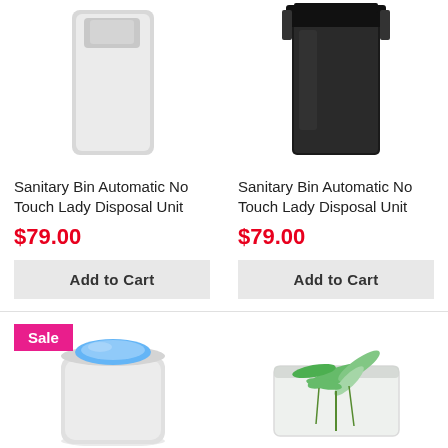[Figure (photo): White sanitary bin automatic no touch lady disposal unit, tall rectangular shape]
[Figure (photo): Black sanitary bin automatic no touch lady disposal unit, tall rectangular shape with lid]
Sanitary Bin Automatic No Touch Lady Disposal Unit
$79.00
Add to Cart
Sanitary Bin Automatic No Touch Lady Disposal Unit
$79.00
Add to Cart
[Figure (photo): White and blue swing-lid sanitary bin with Sale badge]
[Figure (photo): Sealed transparent bag with green leaves/plant sprigs inside]